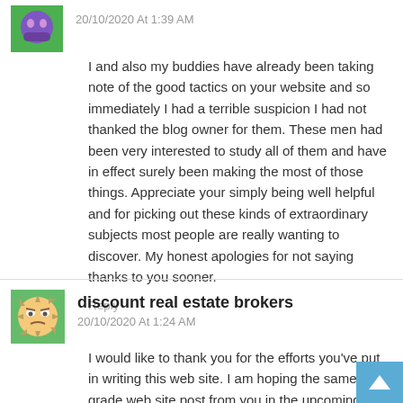20/10/2020 At 1:39 AM
I and also my buddies have already been taking note of the good tactics on your website and so immediately I had a terrible suspicion I had not thanked the blog owner for them. These men had been very interested to study all of them and have in effect surely been making the most of those things. Appreciate your simply being well helpful and for picking out these kinds of extraordinary subjects most people are really wanting to discover. My honest apologies for not saying thanks to you sooner.
Reply
[Figure (illustration): Green avatar with purple character icon]
discount real estate brokers
20/10/2020 At 1:24 AM
[Figure (illustration): Cartoon gear face avatar on green background]
I would like to thank you for the efforts you've put in writing this web site. I am hoping the same high-grade web site post from you in the upcoming as well. Actually your creative writing skills has encouraged me to get my own site now. Actually the blogging is spreading its wings quickly. Your write up is a good example of it.